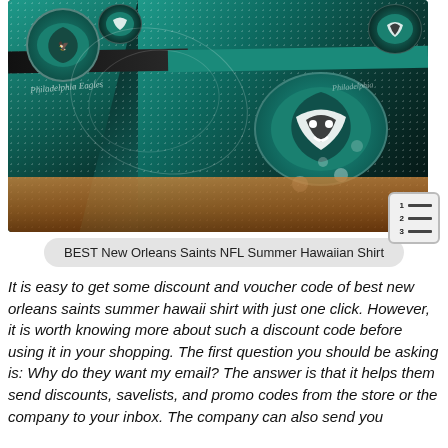[Figure (photo): Philadelphia Eagles NFL Hawaiian shirt displayed on a wooden surface. The shirt is dark teal and black with white eagle logos, dot patterns, and swirl designs. Multiple angles of the shirt are visible.]
BEST New Orleans Saints NFL Summer Hawaiian Shirt
It is easy to get some discount and voucher code of best new orleans saints summer hawaii shirt with just one click. However, it is worth knowing more about such a discount code before using it in your shopping. The first question you should be asking is: Why do they want my email? The answer is that it helps them send discounts, savelists, and promo codes from the store or the company to your inbox. The company can also send you